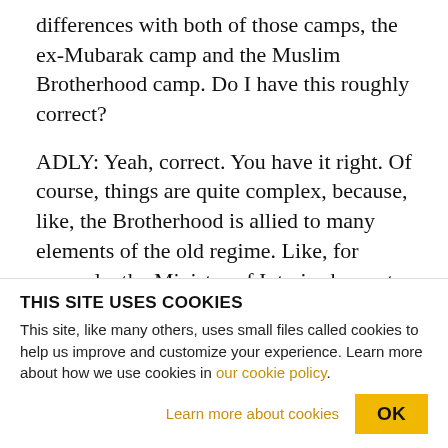differences with both of those camps, the ex-Mubarak camp and the Muslim Brotherhood camp. Do I have this roughly correct?
ADLY: Yeah, correct. You have it right. Of course, things are quite complex, because, like, the Brotherhood is allied to many elements of the old regime. Like, for example, the Ministry of Interior has not been restructured. The Ministry of Interior, which is or which has been accused of many atrocities under Mubarak, and, as a matter of fact
THIS SITE USES COOKIES
This site, like many others, uses small files called cookies to help us improve and customize your experience. Learn more about how we use cookies in our cookie policy.
Learn more about cookies   OK